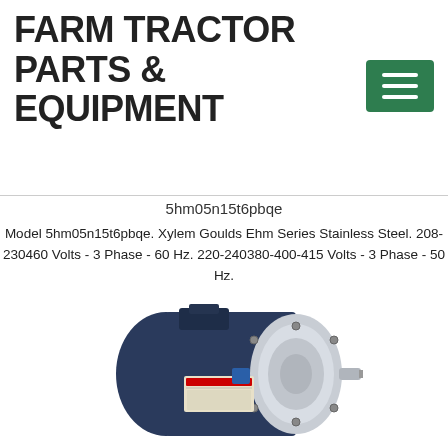FARM TRACTOR PARTS & EQUIPMENT
5hm05n15t6pbqe
Model 5hm05n15t6pbqe. Xylem Goulds Ehm Series Stainless Steel. 208-230460 Volts - 3 Phase - 60 Hz. 220-240380-400-415 Volts - 3 Phase - 50 Hz.
[Figure (photo): Electric motor with dark blue body and stainless steel end cap, shaft extending to the right]